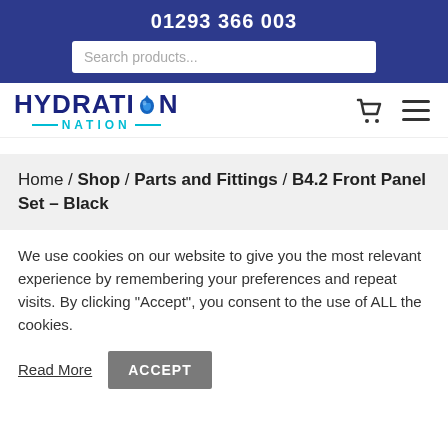01293 366 003
Search products...
[Figure (logo): Hydration Nation logo with water drop icon, cyan NATION text with decorative lines]
Home / Shop / Parts and Fittings / B4.2 Front Panel Set – Black
We use cookies on our website to give you the most relevant experience by remembering your preferences and repeat visits. By clicking "Accept", you consent to the use of ALL the cookies.
Read More  ACCEPT